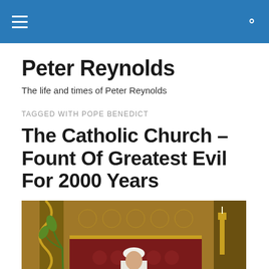Peter Reynolds
The life and times of Peter Reynolds
TAGGED WITH POPE BENEDICT
The Catholic Church – Fount Of Greatest Evil For 2000 Years
[Figure (photo): A figure in white papal vestments at an ornate red and gold Catholic church altar with decorative carvings and candles]